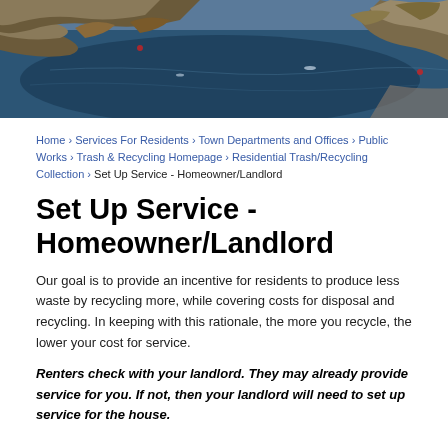[Figure (photo): Aerial view of a lake or reservoir with shoreline, water, and boats visible. Autumn/winter landscape with brown vegetation on the banks.]
Home › Services For Residents › Town Departments and Offices › Public Works › Trash & Recycling Homepage › Residential Trash/Recycling Collection › Set Up Service - Homeowner/Landlord
Set Up Service - Homeowner/Landlord
Our goal is to provide an incentive for residents to produce less waste by recycling more, while covering costs for disposal and recycling. In keeping with this rationale, the more you recycle, the lower your cost for service.
Renters check with your landlord. They may already provide service for you. If not, then your landlord will need to set up service for the house.